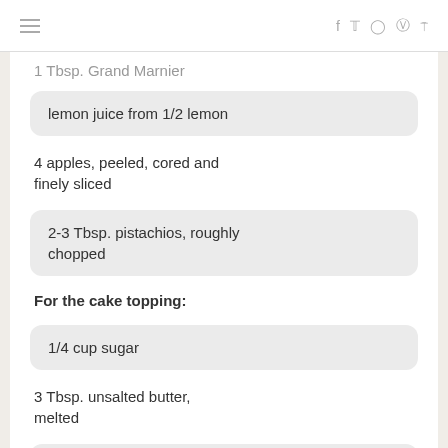≡   f  tw  ○  ℗  ≋
1 Tbsp. Grand Marnier
lemon juice from 1/2 lemon
4 apples, peeled, cored and finely sliced
2-3 Tbsp. pistachios, roughly chopped
For the cake topping:
1/4 cup sugar
3 Tbsp. unsalted butter, melted
2 eggs, separated
1 1/2 Tbsp. Grand Marnier